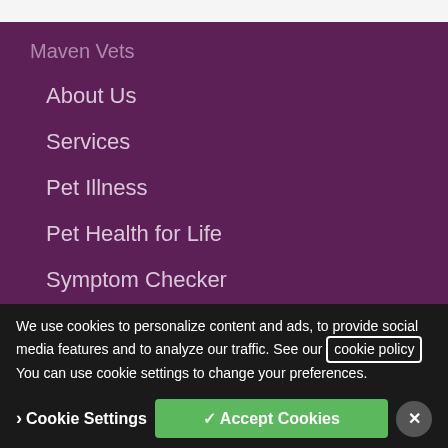Maven Vets
About Us
Services
Pet Illness
Pet Health for Life
Symptom Checker
New Pet
How To
News
Contact Us
Prescriptions
Register Now
We use cookies to personalize content and ads, to provide social media features and to analyze our traffic. See our cookie policy You can use cookie settings to change your preferences.
Cookie Settings
✓ Accept Cookies